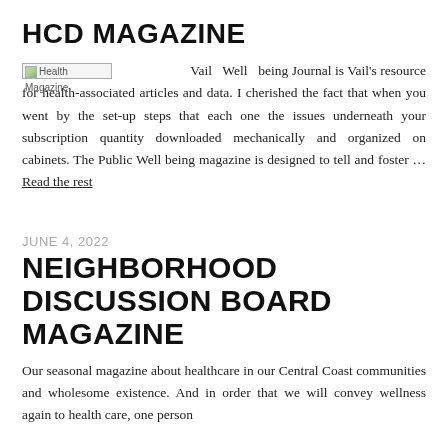HCD MAGAZINE
[Figure (photo): Health Magazine placeholder image thumbnail]
Vail Well being Journal is Vail's resource for health-associated articles and data. I cherished the fact that when you went by the set-up steps that each one the issues underneath your subscription quantity downloaded mechanically and organized on cabinets. The Public Well being magazine is designed to tell and foster … Read the rest
JUNE 4, 2022
NEIGHBORHOOD HEALTH DISCUSSION BOARD MAGAZINE
Our seasonal magazine about healthcare in our Central Coast communities and wholesome existence. And in order that we will convey wellness again to health care, one person